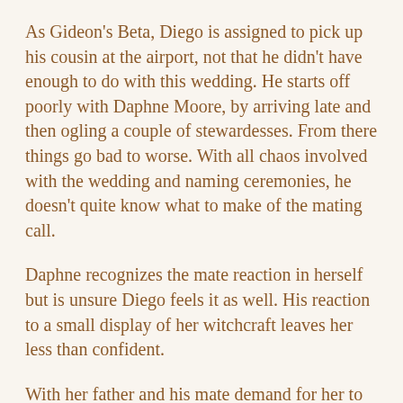As Gideon's Beta, Diego is assigned to pick up his cousin at the airport, not that he didn't have enough to do with this wedding. He starts off poorly with Daphne Moore, by arriving late and then ogling a couple of stewardesses. From there things go bad to worse. With all chaos involved with the wedding and naming ceremonies, he doesn't quite know what to make of the mating call.
Daphne recognizes the mate reaction in herself but is unsure Diego feels it as well. His reaction to a small display of her witchcraft leaves her less than confident.
With her father and his mate demand for her to choose Wolf or Witch. She is Diego's mate, can't she be herself both witch and wolf? Gideon and Ryder like her the way she is. Can she mate with Diego and become part of Gideon's pack?